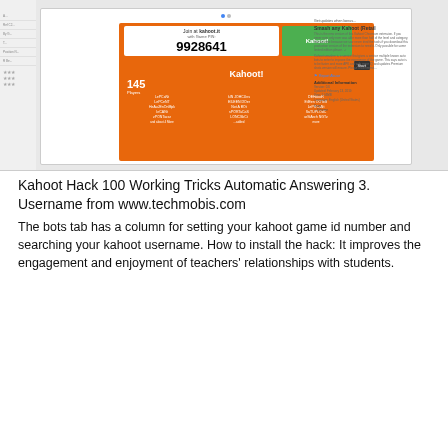[Figure (screenshot): Screenshot of Kahoot game interface showing game PIN 9928641 with 145 players, orange background with player names listed]
Kahoot Hack 100 Working Tricks Automatic Answering 3. Username from www.techmobis.com
The bots tab has a column for setting your kahoot game id number and searching your kahoot username. How to install the hack: It improves the engagement and enjoyment of teachers’ relationships with students.
[Figure (screenshot): Screenshot of Kahoot Smasher Beta Chrome extension page with Add to Chrome button highlighted by red arrow]